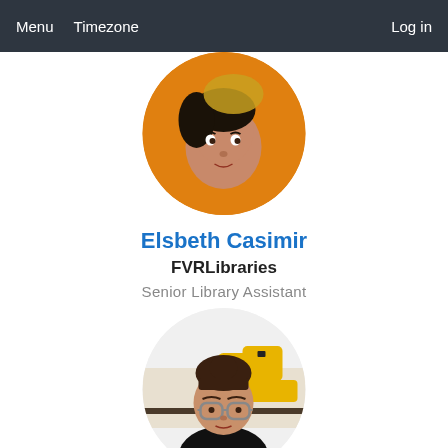Menu   Timezone   Log in
[Figure (photo): Circular profile photo of a woman with dark hair and orange background]
Elsbeth Casimir
FVRLibraries
Senior Library Assistant
[Figure (photo): Circular profile photo of a woman with glasses and brown hair in a bun, yellow power tools in background]